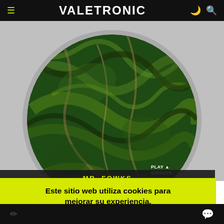VALETRONIC
[Figure (illustration): Circular vinyl record with green marble texture surface. PLAY GROOVE logo visible in lower right of circle. Dark title bar at bottom reads MR. FOWKS in yellow letters.]
MR. FOWKS
Este sitio web utiliza cookies para mejorar su experiencia. Asumimiremos que está de acuerdo con esto, pero puede optar por no participar si lo desea. Acepto  Leer más